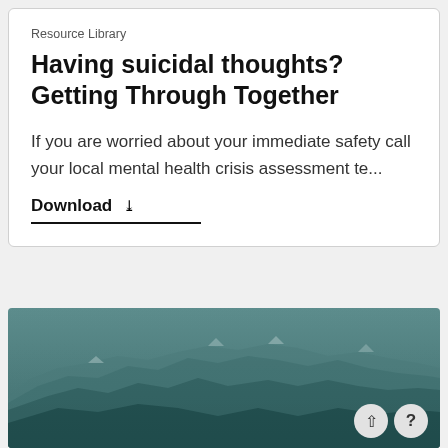Resource Library
Having suicidal thoughts? Getting Through Together
If you are worried about your immediate safety call your local mental health crisis assessment te...
Download ↓
[Figure (photo): Mountain range landscape photo with teal/dark green mist and multiple overlapping mountain ridges]